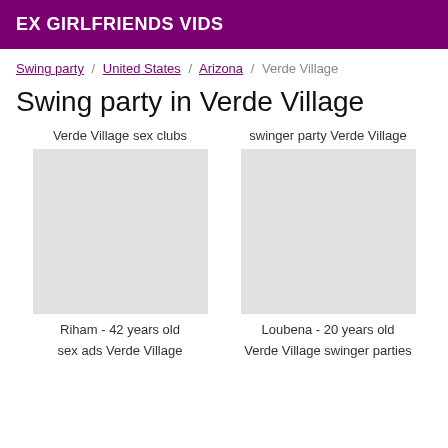EX GIRLFRIENDS VIDS
Swing party / United States / Arizona / Verde Village
Swing party in Verde Village
Verde Verde Village sex clubs
swinger party Verde Village
Riham - 42 years old
Loubena - 20 years old
sex ads Verde Village
Verde Village swinger parties